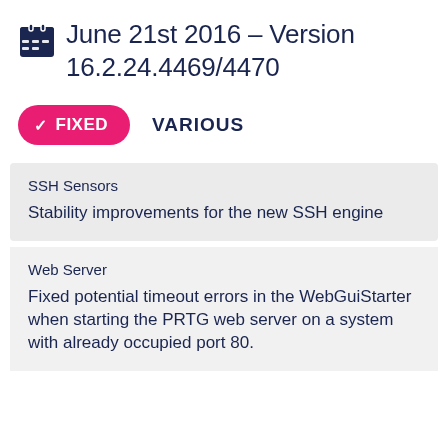June 21st 2016 – Version 16.2.24.4469/4470
✓ FIXED   VARIOUS
SSH Sensors
Stability improvements for the new SSH engine
Web Server
Fixed potential timeout errors in the WebGuiStarter when starting the PRTG web server on a system with already occupied port 80.